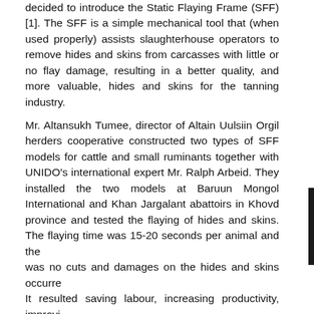decided to introduce the Static Flaying Frame (SFF)[1]. The SFF is a simple mechanical tool that (when used properly) assists slaughterhouse operators to remove hides and skins from carcasses with little or no flay damage, resulting in a better quality, and more valuable, hides and skins for the tanning industry.
Mr. Altansukh Tumee, director of Altain Uulsiin Orgil herders cooperative constructed two types of SFF models for cattle and small ruminants together with UNIDO's international expert Mr. Ralph Arbeid. They installed the two models at Baruun Mongol International and Khan Jargalant abattoirs in Khovd province and tested the flaying of hides and skins. The flaying time was 15-20 seconds per animal and there was no cuts and damages on the hides and skins occurred. It resulted saving labour, increasing productivity, improving hygiene to treat the meat, avoiding skin damages, and creating new job opportunity in the countryside. Furthermore, MoFALI reflected this as a standard requirement into the National Leather Incentive Scheme, which is being newly developed.